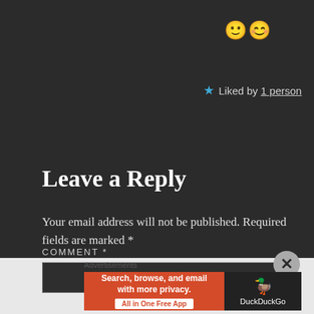[Figure (other): Two smiling face with smiling eyes emojis]
★ Liked by 1 person
Leave a Reply
Your email address will not be published. Required fields are marked *
COMMENT *
[Figure (other): DuckDuckGo advertisement banner: Search, browse, and email with more privacy. All in One Free App]
Advertisements